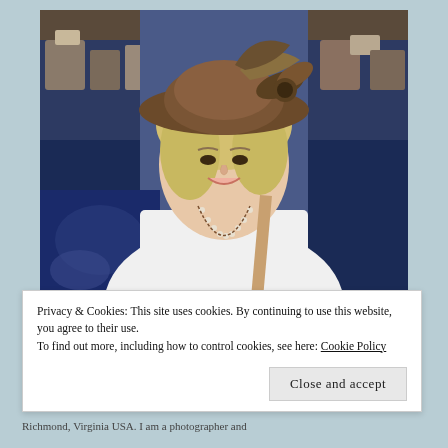[Figure (photo): A smiling older woman wearing a decorative brown feathered hat and white blouse with pearl and chain necklaces, photographed at what appears to be an antique market or fair. Background shows blue-draped tables with antiques and collectibles.]
Privacy & Cookies: This site uses cookies. By continuing to use this website, you agree to their use.
To find out more, including how to control cookies, see here: Cookie Policy
Close and accept
Richmond, Virginia USA. I am a photographer and...